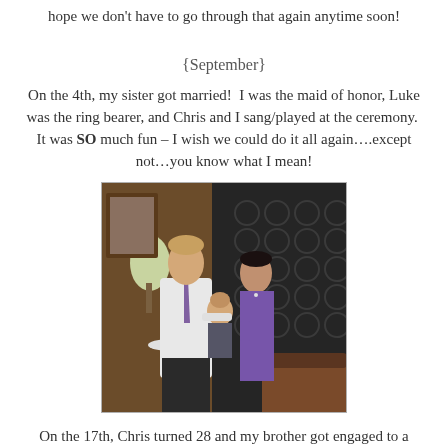hope we don't have to go through that again anytime soon!
{September}
On the 4th, my sister got married!  I was the maid of honor, Luke was the ring bearer, and Chris and I sang/played at the ceremony.  It was SO much fun – I wish we could do it all again….except not…you know what I mean!
[Figure (photo): A man in a white shirt and tie holds a small child in a suit, next to a woman in a purple dress. They are posing at what appears to be a wedding reception with dark patterned wallpaper in the background.]
On the 17th, Chris turned 28 and my brother got engaged to a wonderful girl.  We celebrated with an engagement dinner